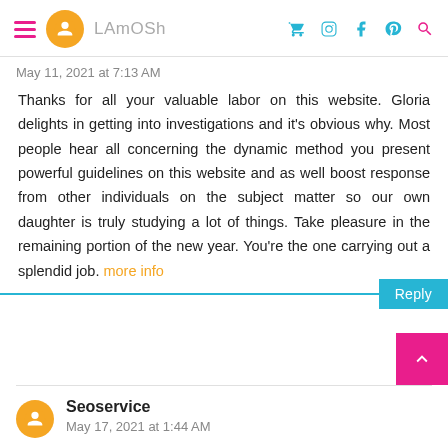LAmOSh
May 11, 2021 at 7:13 AM
Thanks for all your valuable labor on this website. Gloria delights in getting into investigations and it's obvious why. Most people hear all concerning the dynamic method you present powerful guidelines on this website and as well boost response from other individuals on the subject matter so our own daughter is truly studying a lot of things. Take pleasure in the remaining portion of the new year. You're the one carrying out a splendid job. more info
Reply
Seoservice
May 17, 2021 at 1:44 AM